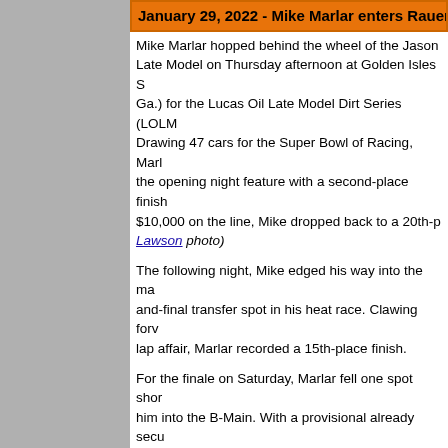January 29, 2022 - Mike Marlar enters Rauen Ra...
Mike Marlar hopped behind the wheel of the Jason Late Model on Thursday afternoon at Golden Isles S Ga.) for the Lucas Oil Late Model Dirt Series (LOLM Drawing 47 cars for the Super Bowl of Racing, Marl the opening night feature with a second-place finish $10,000 on the line, Mike dropped back to a 20th-p Lawson photo)
The following night, Mike edged his way into the ma and-final transfer spot in his heat race. Clawing forv lap affair, Marlar recorded a 15th-place finish.
For the finale on Saturday, Marlar fell one spot shor him into the B-Main. With a provisional already secu before pulling in. Starting the $15,000-to-win finale i
For more information on this event, please visit www...
September 23, 2021 - Top-5 finish with Hoker Tr...
On Thursday evening, Jason Rauen was one of 30 entries on hand at Dubuque Speedway (Dubuque, I prize. With a fifth-to-second run his heat race positio starting grid for the main event. Jason improved tw...